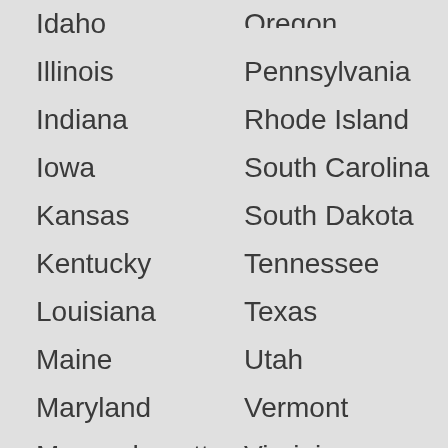Idaho
Illinois
Indiana
Iowa
Kansas
Kentucky
Louisiana
Maine
Maryland
Massachusetts
Michigan
Minnesota
Mississippi
Oregon
Pennsylvania
Rhode Island
South Carolina
South Dakota
Tennessee
Texas
Utah
Vermont
Virginia
Washington
West Virginia
Wisconsin